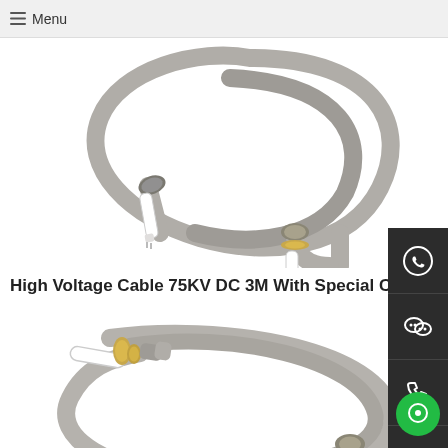☰ Menu
[Figure (photo): High voltage cable with grey insulated coiled cable and two angled connector ends with white ceramic insulators and metal fittings]
High Voltage Cable 75KV DC 3M With Special Connec…
[Figure (photo): High voltage cable with white ceramic connector end, gold ring fitting, coiled grey cable, and second angled metal connector end]
[Figure (infographic): Dark sidebar with WhatsApp, WeChat, phone, and email contact icons]
[Figure (infographic): Green circular floating chat button at bottom right]